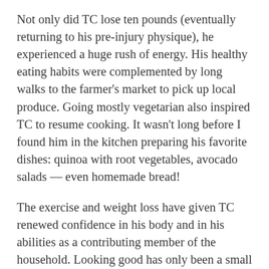Not only did TC lose ten pounds (eventually returning to his pre-injury physique), he experienced a huge rush of energy. His healthy eating habits were complemented by long walks to the farmer's market to pick up local produce. Going mostly vegetarian also inspired TC to resume cooking. It wasn't long before I found him in the kitchen preparing his favorite dishes: quinoa with root vegetables, avocado salads — even homemade bread!
The exercise and weight loss have given TC renewed confidence in his body and in his abilities as a contributing member of the household. Looking good has only been a small part of TC's motivation, however. Recent studies indicate that brain injury can greatly affect the aging process. With a young son to consider, TC is determined to resume his role as an active, engaged father. Exercising and